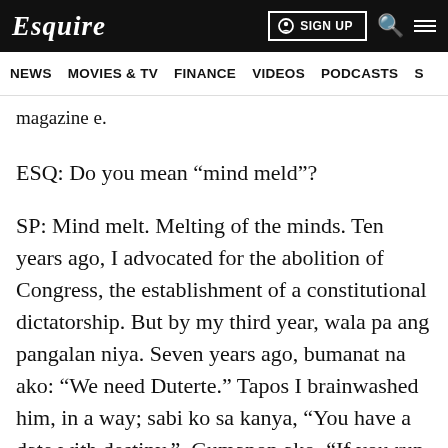Esquire  SIGN UP
NEWS  MOVIES & TV  FINANCE  VIDEOS  PODCASTS
magazine e.
ESQ: Do you mean “mind meld”?
SP: Mind melt. Melting of the minds. Ten years ago, I advocated for the abolition of Congress, the establishment of a constitutional dictatorship. But by my third year, wala pa ang pangalan niya. Seven years ago, bumanat na ako: “We need Duterte.” Tapos I brainwashed him, in a way; sabi ko sa kanya, “You have a date with destiny.”  Gumanon ako. “If you run, you’ll win, landslide.” Bwisit na bwisit siya sa akin. “Tigilan mo na ‘yang kabalbalan